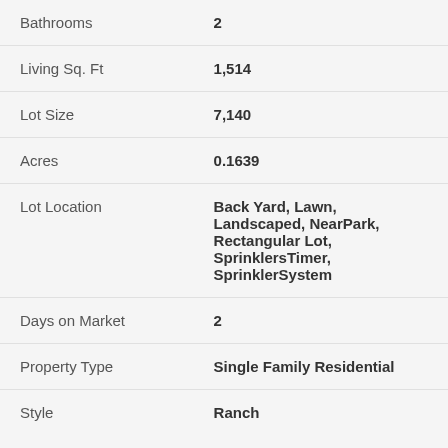| Field | Value |
| --- | --- |
| Bathrooms | 2 |
| Living Sq. Ft | 1,514 |
| Lot Size | 7,140 |
| Acres | 0.1639 |
| Lot Location | Back Yard, Lawn, Landscaped, NearPark, Rectangular Lot, SprinklersTimer, SprinklerSystem |
| Days on Market | 2 |
| Property Type | Single Family Residential |
| Style | Ranch |